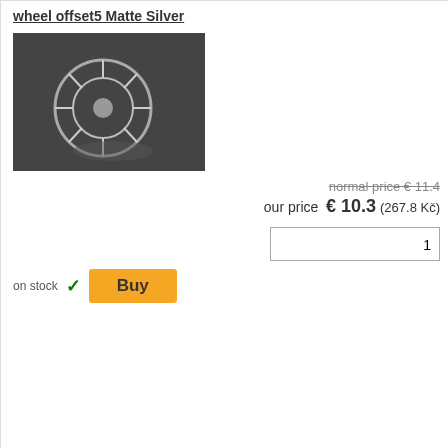wheel offset5 Matte Silver
[Figure (photo): Silver wheel product photo on dark background]
normal price € 11.4
our price € 10.3 (267.8 Kč)
on stock
Buy
out
DW-1023WH MESH WHEEL Reinforced Version
DW- Rein
[Figure (photo): White mesh wheel product photo on white background]
normal price € 6.0
our price € 5.4 (140.4 Kč)